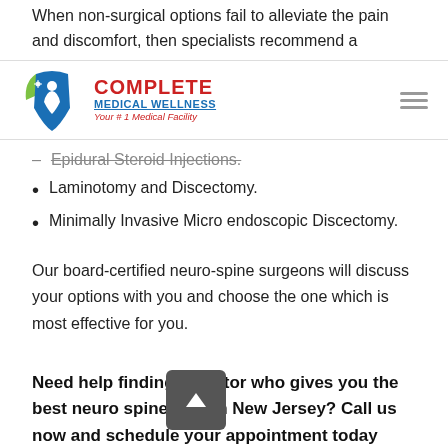When non-surgical options fail to alleviate the pain and discomfort, then specialists recommend a
[Figure (logo): Complete Medical Wellness logo with blue shield icon, red COMPLETE text, blue MEDICAL WELLNESS text underlined, red tagline 'Your #1 Medical Facility']
Epidural Steroid Injections. (strikethrough)
Laminotomy and Discectomy.
Minimally Invasive Micro endoscopic Discectomy.
Our board-certified neuro-spine surgeons will discuss your options with you and choose the one which is most effective for you.
Need help finding a doctor who gives you the best neuro spine care in New Jersey? Call us now and schedule your appointment today